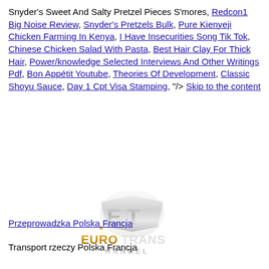Snyder's Sweet And Salty Pretzel Pieces S'mores, Redcon1 Big Noise Review, Snyder's Pretzels Bulk, Pure Kienyeji Chicken Farming In Kenya, I Have Insecurities Song Tik Tok, Chinese Chicken Salad With Pasta, Best Hair Clay For Thick Hair, Power/knowledge Selected Interviews And Other Writings Pdf, Bon Appétit Youtube, Theories Of Development, Classic Shoyu Sauce, Day 1 Cpt Visa Stamping, "/> Skip to the content
[Figure (logo): Eurotrans Handel logo — stylized silver/gold ET emblem above the word EUROTRANS in bold gold letters and HANDEL in smaller metallic letters]
Przeprowadzka Polska Francja
Transport rzeczy Polska Francja